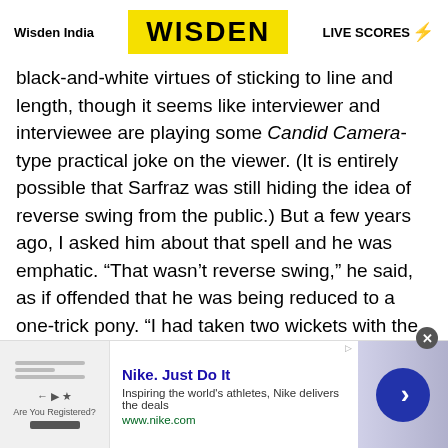Wisden India | WISDEN | LIVE SCORES
black-and-white virtues of sticking to line and length, though it seems like interviewer and interviewee are playing some Candid Camera-type practical joke on the viewer. (It is entirely possible that Sarfraz was still hiding the idea of reverse swing from the public.) But a few years ago, I asked him about that spell and he was emphatic. “That wasn’t reverse swing,” he said, as if offended that he was being reduced to a one-trick pony. “I had taken two wickets with the new ball, then three or four with the old ball, and then the new ball again.”
[Figure (screenshot): Nike advertisement banner: Nike. Just Do It - Inspiring the world's athletes, Nike delivers the deals - www.nike.com]